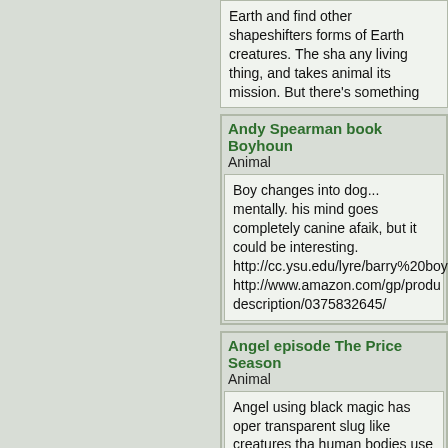Earth and find other shapeshifters forms of Earth creatures. The sha any living thing, and takes animal its mission. But there's something
Andy Spearman book Boyhound
Animal
Boy changes into dog... mentally. his mind goes completely canine afaik, but it could be interesting. http://cc.ysu.edu/lyre/barry%20boy http://www.amazon.com/gp/produ description/0375832645/
Angel episode The Price Season
Animal
Angel using black magic has oper transparent slug like creatures tha human bodies use to enter our wo dehydration as they suck the mois Winfred becomes possessed. At ti her body. Usually ...more
Angry beavers episode I am Not #1